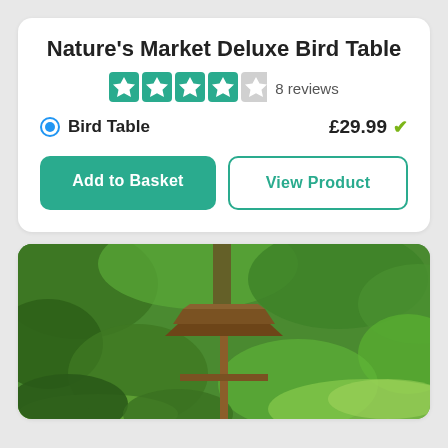Nature's Market Deluxe Bird Table
[Figure (other): Trustpilot-style star rating: 4 filled teal stars and 1 empty/grey star, with '8 reviews' text]
Bird Table   £29.99 ✓
Add to Basket   View Product
[Figure (photo): Photograph of a wooden bird table standing on a post in a lush green garden with trees and shrubs in the background]